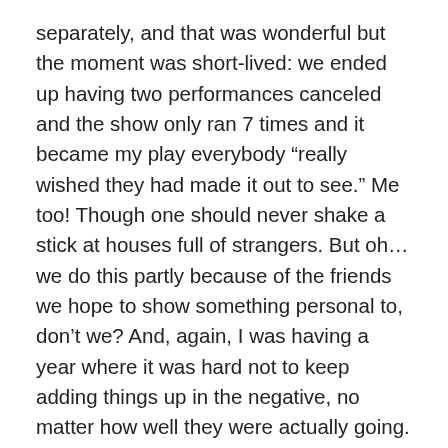separately, and that was wonderful but the moment was short-lived: we ended up having two performances canceled and the show only ran 7 times and it became my play everybody “really wished they had made it out to see.” Me too! Though one should never shake a stick at houses full of strangers. But oh… we do this partly because of the friends we hope to show something personal to, don’t we? And, again, I was having a year where it was hard not to keep adding things up in the negative, no matter how well they were actually going.
Anyway, this was then followed by the Fringe, as rewarding and as demanding as ever, which was then followed by the fast and furious (yet incredibly smooth) rehearsal process for my play “Pastorella”, which was the only piece I both wrote and directed last year, and which was well received, actually pretty much adored by…